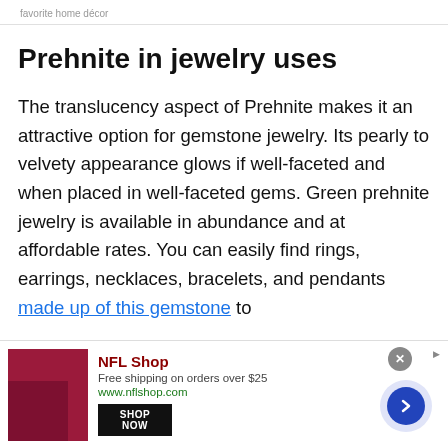favorite home décor
Prehnite in jewelry uses
The translucency aspect of Prehnite makes it an attractive option for gemstone jewelry. Its pearly to velvety appearance glows if well-faceted and when placed in well-faceted gems. Green prehnite jewelry is available in abundance and at affordable rates. You can easily find rings, earrings, necklaces, bracelets, and pendants made up of this gemstone to
[Figure (other): NFL Shop advertisement banner. Shows an NFL Shop logo with dark red/maroon product image on the left, 'NFL Shop' title in dark red, 'Free shipping on orders over $25', 'www.nflshop.com' in green, a 'SHOP NOW' button, a close (X) button, and a blue arrow circle on the right.]